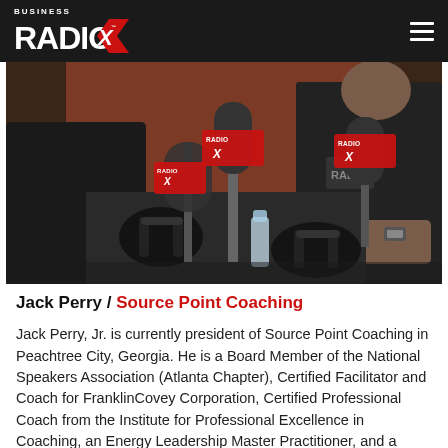Business Radio X
[Figure (photo): Two people seated at a radio studio table with Business Radio X branded microphones in the foreground. Both individuals are wearing dark polo shirts, one with a Radio X logo visible.]
Jack Perry / Source Point Coaching
Jack Perry, Jr. is currently president of Source Point Coaching in Peachtree City, Georgia. He is a Board Member of the National Speakers Association (Atlanta Chapter), Certified Facilitator and Coach for FranklinCovey Corporation, Certified Professional Coach from the Institute for Professional Excellence in Coaching, an Energy Leadership Master Practitioner, and a Neuro-Linguistics Practitioner from the Gestalt